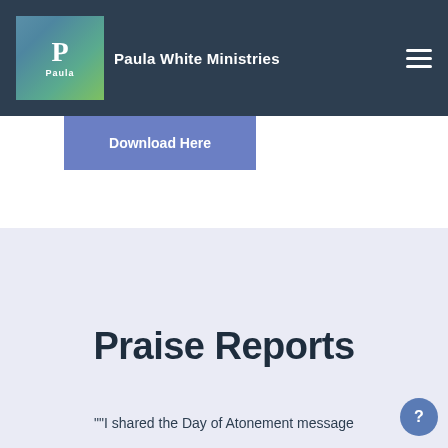Paula White Ministries
Download Here
[Figure (illustration): Decorative overlapping circular shapes in light lavender/periwinkle gradient colors forming a background design]
Praise Reports
""I shared the Day of Atonement message